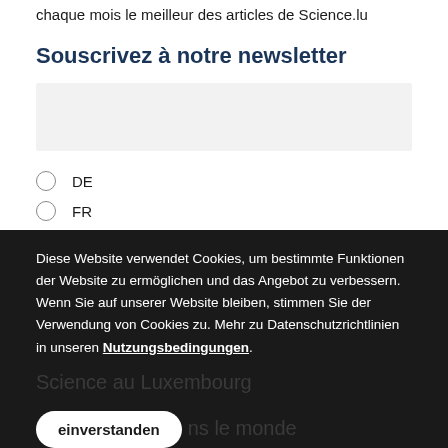chaque mois le meilleur des articles de Science.lu
Souscrivez à notre newsletter
DE
FR
Diese Website verwendet Cookies, um bestimmte Funktionen der Website zu ermöglichen und das Angebot zu verbessern. Wenn Sie auf unserer Website bleiben, stimmen Sie der Verwendung von Cookies zu. Mehr zu Datenschutzrichtlinien in unseren Nutzungsbedingungen.
Science au Luxembourg
einverstanden
ns le monde